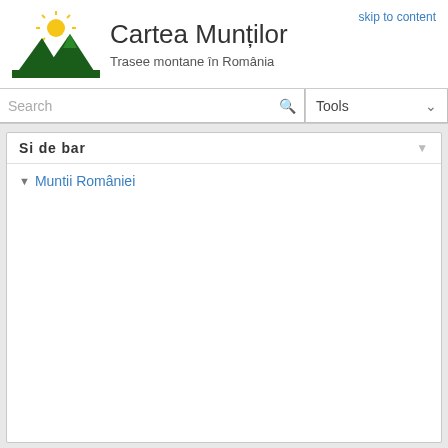[Figure (logo): Green mountain silhouette logo with yellow sun above peaks]
Cartea Munților
Trasee montane în România
skip to content
Search
Tools
Sidebar
Muntii României
This is an old revision of the document!
Table of Contents